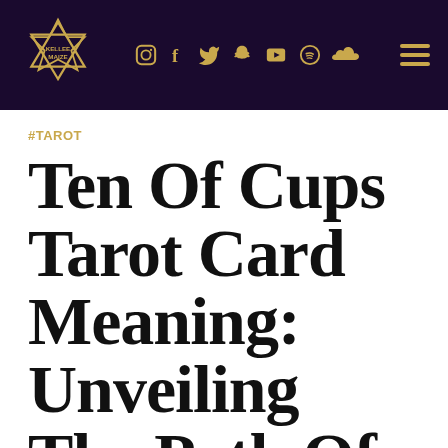KELLEE MAIZE — social icons — navigation menu
#TAROT
Ten Of Cups Tarot Card Meaning: Unveiling The Path Of Your Romantic Journey